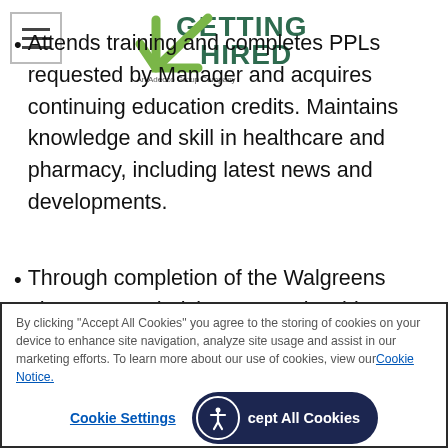[Figure (logo): GettingHired logo — stylized checkmark with 'GETTING HIRED' text, An Adecco Group Company]
Attends training and completes PPLs requested by Manager and acquires continuing education credits. Maintains knowledge and skill in healthcare and pharmacy, including latest news and developments.
Through completion of the Walgreens pharmacy technician apprenticeship program, experience qualifies for eight (8) college credit hours as recognized by the American Council on Education
By clicking “Accept All Cookies” you agree to the storing of cookies on your device to enhance site navigation, analyze site usage and assist in our marketing efforts. To learn more about our use of cookies, view our Cookie Notice.
Cookie Settings | Accept All Cookies